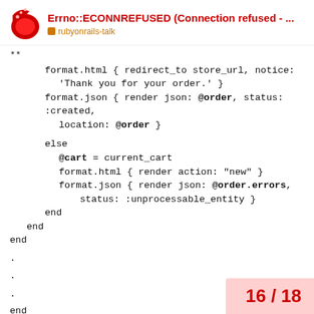Errno::ECONNREFUSED (Connection refused - ... | rubyonrails-talk
**
    format.html { redirect_to store_url, notice:
      'Thank you for your order.' }
    format.json { render json: @order, status: :created,
      location: @order }

    else
      @cart = current_cart
      format.html { render action: "new" }
      format.json { render json: @order.errors,
          status: :unprocessable_entity }
    end
  end
end
.
.
.
end
16 / 18